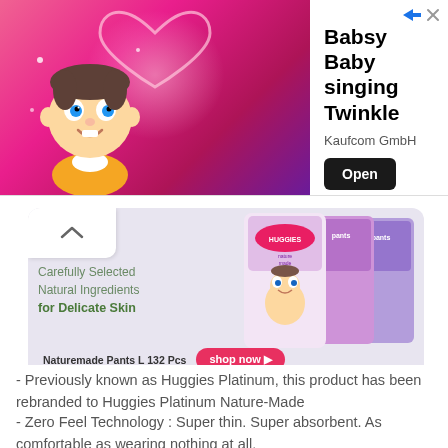[Figure (screenshot): Mobile app advertisement banner for 'Babsy Baby singing Twinkle' by Kaufcom GmbH, showing a cartoon baby on pink/magenta background on the left, and app title, developer name, and Open button on the right.]
[Figure (screenshot): Huggies Naturemade Pants product advertisement showing product packaging, tagline 'Carefully Selected Natural Ingredients for Delicate Skin', shop now button, and size selector bar with M (6-11kg), L (9-14kg), XL (12-18kg), XXL (>15 kg).]
- Previously known as Huggies Platinum, this product has been rebranded to Huggies Platinum Nature-Made
- Zero Feel Technology : Super thin. Super absorbent. As comfortable as wearing nothing at all.
- 5mm thin